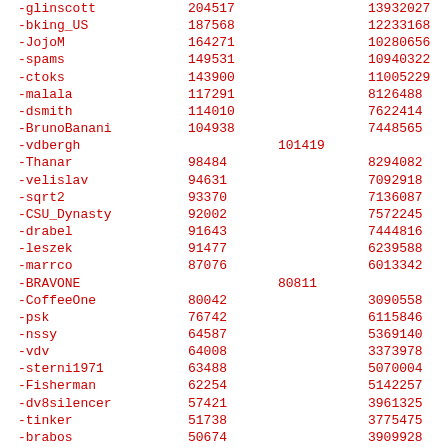| username | col2 | col3 | col4 |
| --- | --- | --- | --- |
| -glinscott | 204517 |  | 13932027 |  |
| -bking_US | 187568 |  | 12233168 |  |
| -JojoM | 164271 |  | 10280656 |  |
| -spams | 149531 |  | 10940322 |  |
| -ctoks | 143900 |  | 11005229 |  |
| -malala | 117291 |  | 8126488 |  |
| -dsmith | 114010 |  | 7622414 |  |
| -BrunoBanani | 104938 |  | 7448565 |  |
| -vdbergh |  | 101419 |  | 7115028 |
| -Thanar | 98484 |  | 8294082 |  |
| -velislav | 94631 |  | 7092918 |  |
| -sqrt2 | 93370 |  | 7136087 |  |
| -CSU_Dynasty | 92002 |  | 7572245 |  |
| -drabel | 91643 |  | 7444816 |  |
| -leszek | 91477 |  | 6239588 |  |
| -marrco | 87076 |  | 6013342 |  |
| -BRAVONE |  | 80811 |  | 5341681 |
| -CoffeeOne | 80042 |  | 3090558 |  |
| -psk | 76742 |  | 6115846 |  |
| -nssy | 64587 |  | 5369140 |  |
| -vdv | 64008 |  | 3373978 |  |
| -sterni1971 | 63488 |  | 5070004 |  |
| -Fisherman | 62254 |  | 5142257 |  |
| -dv8silencer | 57421 |  | 3961325 |  |
| -tinker | 51738 |  | 3775475 |  |
| -brabos | 50674 |  | 3909928 |  |
| -renouve |  | 50318 |  | 3544864 |
| -Freja | 50296 |  | 3805120 |  |
| -sunu | 48490 |  | 3828255 |  |
| -biffhero | 47523 |  | 4059170 |  |
| -robnjr | 47504 |  | 4131742 |  |
| -finfish |  | 46244 |  | 3481661 |
| -... | 46291 |  | 3319498 |  |